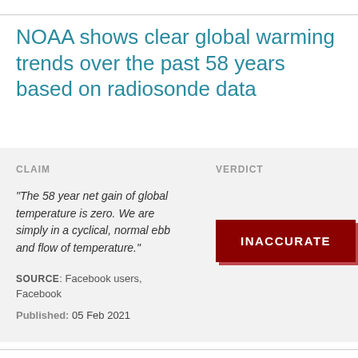NOAA shows clear global warming trends over the past 58 years based on radiosonde data
CLAIM
VERDICT
"The 58 year net gain of global temperature is zero. We are simply in a cyclical, normal ebb and flow of temperature."
INACCURATE
SOURCE: Facebook users, Facebook
Published: 05 Feb 2021